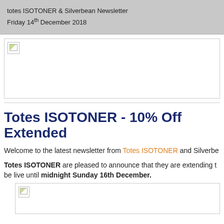totes ISOTONER & Silverbean Newsletter
Friday 14th December 2018
[Figure (photo): Broken/missing image placeholder (banner image)]
Totes ISOTONER - 10% Off Extended
Welcome to the latest newsletter from Totes ISOTONER and Silverbe...
Totes ISOTONER are pleased to announce that they are extending t... be live until midnight Sunday 16th December.
[Figure (photo): Broken/missing image placeholder (product image)]